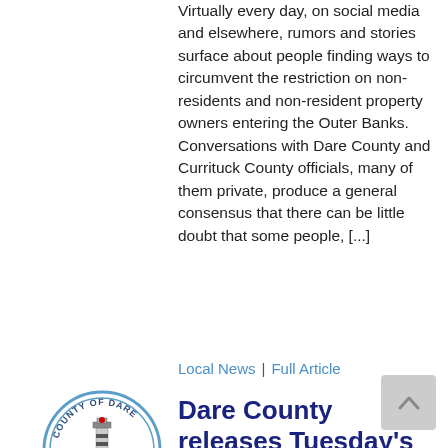Virtually every day, on social media and elsewhere, rumors and stories surface about people finding ways to circumvent the restriction on non-residents and non-resident property owners entering the Outer Banks. Conversations with Dare County and Currituck County officials, many of them private, produce a general consensus that there can be little doubt that some people, [...]
Local News | Full Article
[Figure (logo): County of Dare circular seal/logo with lighthouse image]
Dare County releases Tuesday's COVID-19 update